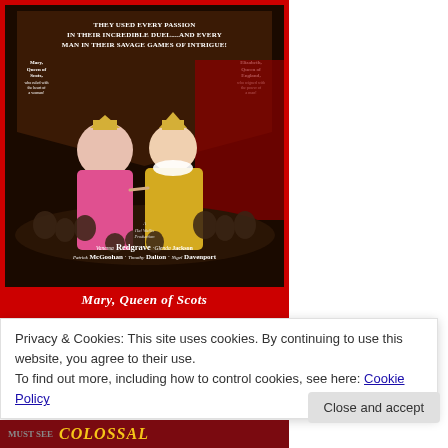[Figure (illustration): Movie poster for 'Mary, Queen of Scots' showing two women in period costume (one in pink, one in gold) facing each other, surrounded by crowd scenes below, with shield-shaped background. A Hal Wallis Production. Stars Vanessa Redgrave, Glenda Jackson, Patrick McGoohan, Timothy Dalton, Nigel Davenport. Red border around poster.]
Privacy & Cookies: This site uses cookies. By continuing to use this website, you agree to their use.
To find out more, including how to control cookies, see here: Cookie Policy